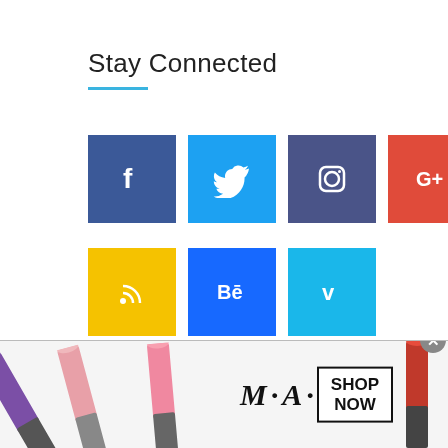Stay Connected
[Figure (infographic): Grid of 9 social media icon buttons: Facebook (blue), Twitter (light blue), Instagram (dark blue-purple), Google+ (red), Snapchat (yellow), Dribbble (pink/magenta), RSS (yellow), Behance (blue), Vimeo (blue)]
[Figure (photo): M·A·C cosmetics advertisement banner showing lipsticks and a SHOP NOW call to action button]